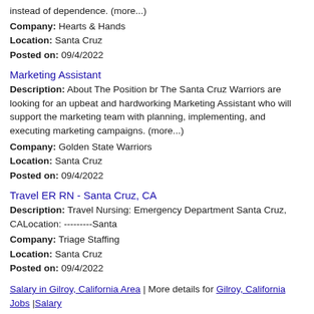instead of dependence. (more...)
Company: Hearts & Hands
Location: Santa Cruz
Posted on: 09/4/2022
Marketing Assistant
Description: About The Position br The Santa Cruz Warriors are looking for an upbeat and hardworking Marketing Assistant who will support the marketing team with planning, implementing, and executing marketing campaigns. (more...)
Company: Golden State Warriors
Location: Santa Cruz
Posted on: 09/4/2022
Travel ER RN - Santa Cruz, CA
Description: Travel Nursing: Emergency Department Santa Cruz, CALocation: ---------Santa
Company: Triage Staffing
Location: Santa Cruz
Posted on: 09/4/2022
Salary in Gilroy, California Area | More details for Gilroy, California Jobs |Salary